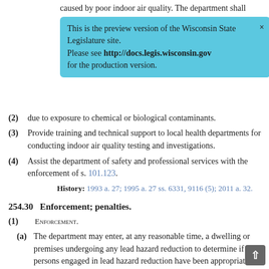caused by poor indoor air quality. The department shall
[Figure (other): Preview banner overlay: 'This is the preview version of the Wisconsin State Legislature site. Please see http://docs.legis.wisconsin.gov for the production version.']
(2) [partial, obscured by banner] due to exposure to chemical or biological contaminants.
(3) Provide training and technical support to local health departments for conducting indoor air quality testing and investigations.
(4) Assist the department of safety and professional services with the enforcement of s. 101.123.
History: 1993 a. 27; 1995 a. 27 ss. 6331, 9116 (5); 2011 a. 32.
254.30 Enforcement; penalties.
(1) ENFORCEMENT.
(a) The department may enter, at any reasonable time, a dwelling or premises undergoing any lead hazard reduction to determine if all persons engaged in lead hazard reduction have been appropriately certified if required under s. 254.176.
(b) The department may report any violation of ss. 254.11 to 254.178 or rules promulgated, or orders issued, under th sections to the district attorney of the county in which th